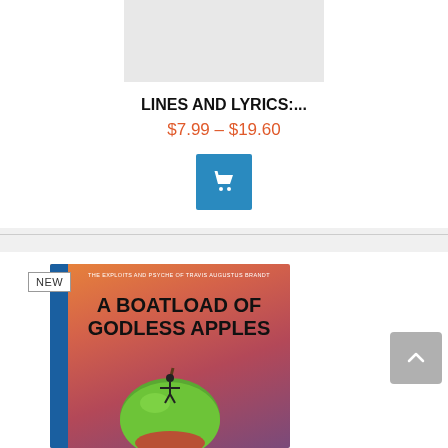[Figure (photo): Book product image (top portion), partially visible white book cover with grey circular thumbnail on right]
LINES AND LYRICS:...
$7.99 – $19.60
[Figure (illustration): Blue shopping cart button icon]
[Figure (photo): Book cover for 'A BOATLOAD OF GODLESS APPLES' with NEW badge, colorful cover showing large green apple with figure on top, blue spine, subtitle 'THE EXPLOITS AND PSYCHE OF TRAVIS AUGUSTUS BRANDT']
[Figure (illustration): Grey back-to-top button with upward chevron arrow]